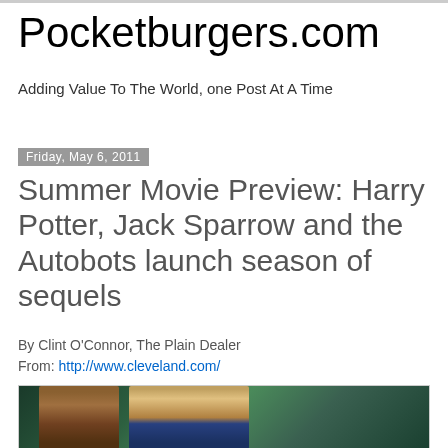Pocketburgers.com
Adding Value To The World, one Post At A Time
Friday, May 6, 2011
Summer Movie Preview: Harry Potter, Jack Sparrow and the Autobots launch season of sequels
By Clint O'Connor, The Plain Dealer
From: http://www.cleveland.com/
[Figure (photo): Two actors in pirate costumes from Pirates of the Caribbean movie]